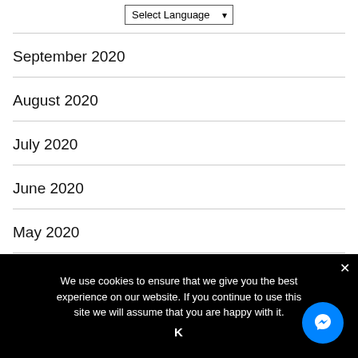[Figure (screenshot): Select Language dropdown widget in the page header area]
September 2020
August 2020
July 2020
June 2020
May 2020
April 2020
We use cookies to ensure that we give you the best experience on our website. If you continue to use this site we will assume that you are happy with it.
K